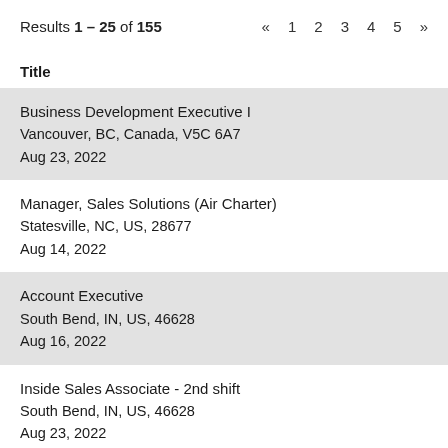Results 1 – 25 of 155   « 1 2 3 4 5 »
Title
Business Development Executive I
Vancouver, BC, Canada, V5C 6A7
Aug 23, 2022
Manager, Sales Solutions (Air Charter)
Statesville, NC, US, 28677
Aug 14, 2022
Account Executive
South Bend, IN, US, 46628
Aug 16, 2022
Inside Sales Associate - 2nd shift
South Bend, IN, US, 46628
Aug 23, 2022